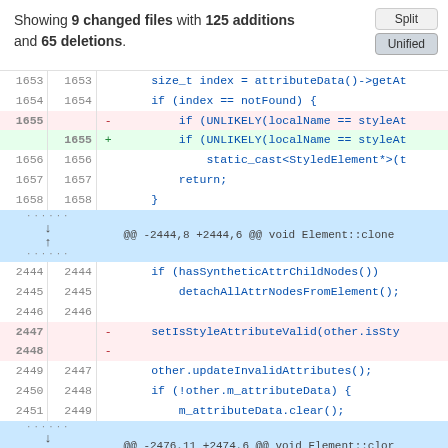Showing 9 changed files with 125 additions and 65 deletions.
[Figure (screenshot): Git unified diff view showing code changes with line numbers, deletions (red), additions (green), and hunk headers (blue). Shows changes around lines 1653-1658 and 2444-2451.]